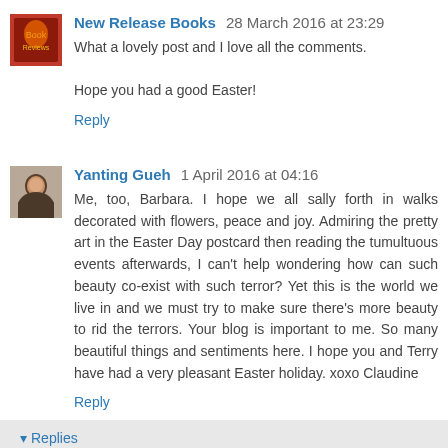[Figure (photo): Avatar/thumbnail image for New Release Books, showing a book cover graphic with red background]
New Release Books 28 March 2016 at 23:29
What a lovely post and I love all the comments.

Hope you had a good Easter!
Reply
[Figure (photo): Avatar photo of Yanting Gueh, a woman with dark hair]
Yanting Gueh 1 April 2016 at 04:16
Me, too, Barbara. I hope we all sally forth in walks decorated with flowers, peace and joy. Admiring the pretty art in the Easter Day postcard then reading the tumultuous events afterwards, I can't help wondering how can such beauty co-exist with such terror? Yet this is the world we live in and we must try to make sure there's more beauty to rid the terrors. Your blog is important to me. So many beautiful things and sentiments here. I hope you and Terry have had a very pleasant Easter holiday. xoxo Claudine
Reply
▾ Replies